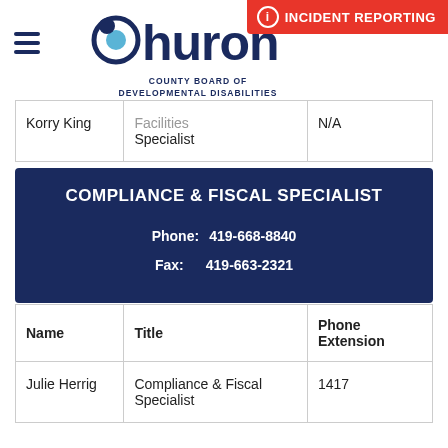Huron County Board of Developmental Disabilities — INCIDENT REPORTING
| Name | Title | Phone Extension |
| --- | --- | --- |
| Korry King | Facilities Specialist | N/A |
COMPLIANCE & FISCAL SPECIALIST
Phone: 419-668-8840
Fax: 419-663-2321
| Name | Title | Phone Extension |
| --- | --- | --- |
| Julie Herrig | Compliance & Fiscal Specialist | 1417 |